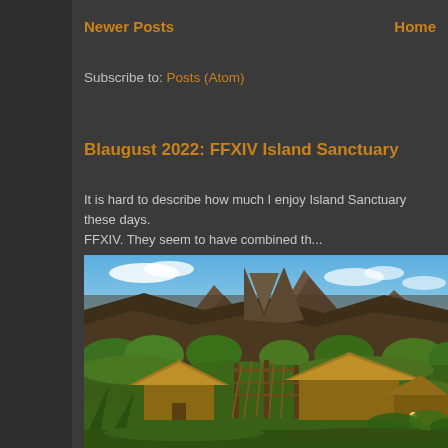Newer Posts    Home
Subscribe to: Posts (Atom)
Blaugust 2022: FFXIV Island Sanctuary
It is hard to describe how much I enjoy Island Sanctuary these days. FFXIV. They seem to have combined th...
[Figure (photo): Screenshot from FFXIV Island Sanctuary showing thatched huts, green vegetation, rocky mountains in background under blue sky with clouds]